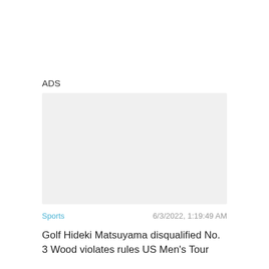ADS
[Figure (other): Empty light gray advertisement placeholder rectangle]
Sports
6/3/2022, 1:19:49 AM
Golf Hideki Matsuyama disqualified No. 3 Wood violates rules US Men's Tour